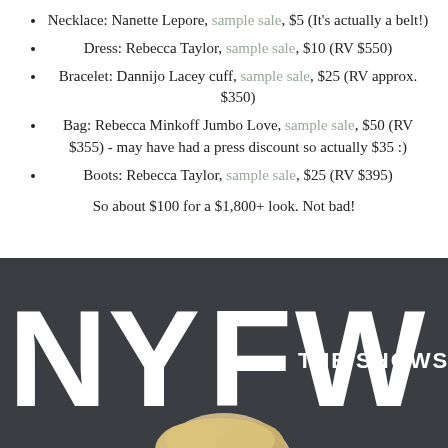Necklace: Nanette Lepore, sample sale, $5 (It's actually a belt!)
Dress: Rebecca Taylor, sample sale, $10 (RV $550)
Bracelet: Dannijo Lacey cuff, sample sale, $25 (RV approx. $350)
Bag: Rebecca Minkoff Jumbo Love, sample sale, $50 (RV $355) - may have had a press discount so actually $35 :)
Boots: Rebecca Taylor, sample sale, $25 (RV $395)
So about $100 for a $1,800+ look. Not bad!
[Figure (photo): Photo of a person in front of a dark NYFW THE SHOWS backdrop sign, showing partial large white NYFW lettering and a blonde person visible from the shoulders up at the bottom of the frame.]